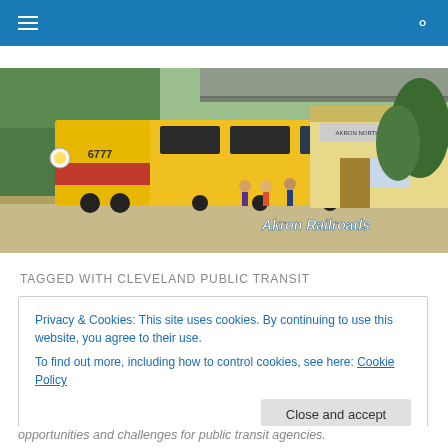Navigation bar with hamburger menu and search icon
[Figure (photo): A yellow and black diesel locomotive numbered 6777 at a station platform with a yellow depot building labeled 'Akron Railroads' and trees in the background on a sunny day.]
TAGGED WITH CLEVELAND PUBLIC TRANSIT
Privacy & Cookies: This site uses cookies. By continuing to use this website, you agree to their use.
To find out more, including how to control cookies, see here: Cookie Policy
Close and accept
opportunities and challenges for public transit agencies.